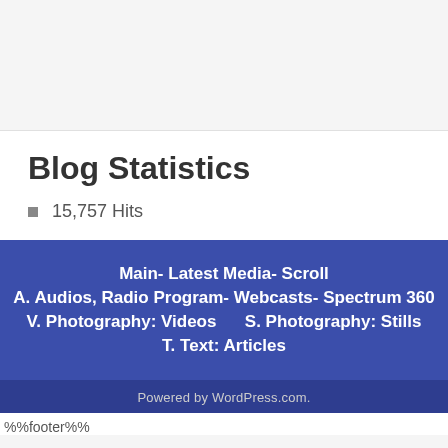Blog Statistics
15,757 Hits
Main- Latest Media- Scroll
A. Audios, Radio Program- Webcasts- Spectrum 360
V. Photography: Videos     S. Photography: Stills
T. Text: Articles
Powered by WordPress.com.
%%footer%%